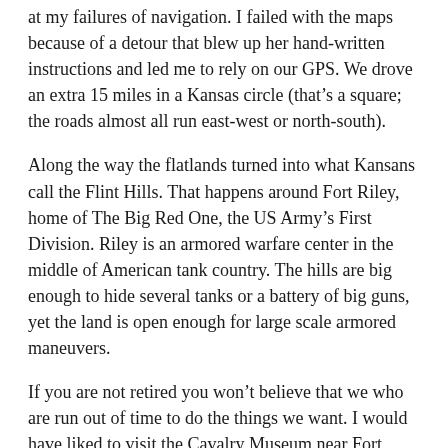at my failures of navigation. I failed with the maps because of a detour that blew up her hand-written instructions and led me to rely on our GPS. We drove an extra 15 miles in a Kansas circle (that's a square; the roads almost all run east-west or north-south).
Along the way the flatlands turned into what Kansans call the Flint Hills. That happens around Fort Riley, home of The Big Red One, the US Army's First Division. Riley is an armored warfare center in the middle of American tank country. The hills are big enough to hide several tanks or a battery of big guns, yet the land is open enough for large scale armored maneuvers.
If you are not retired you won't believe that we who are run out of time to do the things we want. I would have liked to visit the Cavalry Museum near Fort Riley. I don't know that there is much there; what could be? Sabres, sidearms, carbines, maybe some Sioux or Comanche